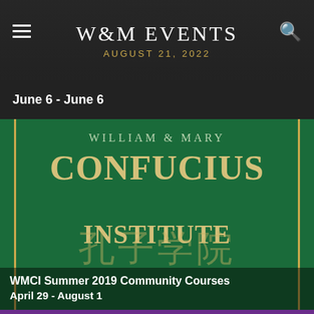W&M EVENTS
AUGUST 21, 2022
June 6 - June 6
[Figure (photo): William & Mary Confucius Institute promotional banner with green background, gold decorative bars, text reading WILLIAM & MARY CONFUCIUS INSTITUTE with Chinese characters below]
WMCI Summer 2019 Community Courses
April 29 - August 1
[Figure (photo): Scholarship on Display event promotional image with purple background, heart shape outline and triangular white element with gender symbol, partial text 'Scholarship on Display']